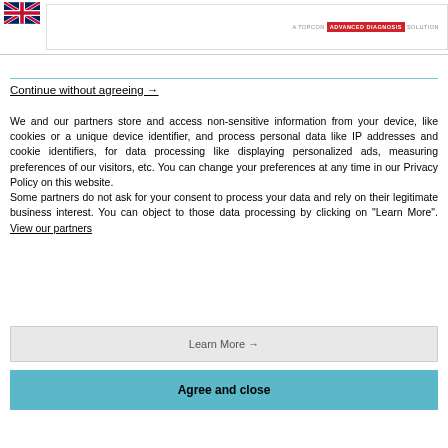[Figure (logo): UK flag and Topcon Advanced Diagnosis Solution logo header]
Continue without agreeing →
We and our partners store and access non-sensitive information from your device, like cookies or a unique device identifier, and process personal data like IP addresses and cookie identifiers, for data processing like displaying personalized ads, measuring preferences of our visitors, etc. You can change your preferences at any time in our Privacy Policy on this website.
Some partners do not ask for your consent to process your data and rely on their legitimate business interest. You can object to those data processing by clicking on "Learn More". View our partners
Learn More →
Agree and close